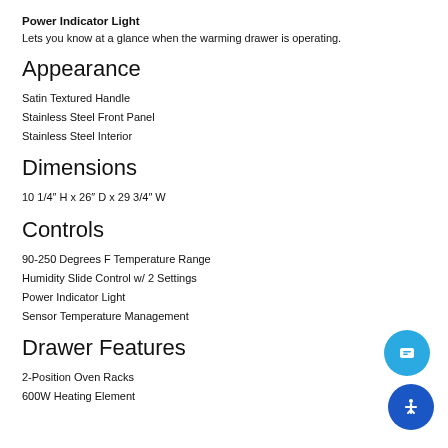Power Indicator Light
Lets you know at a glance when the warming drawer is operating.
Appearance
Satin Textured Handle
Stainless Steel Front Panel
Stainless Steel Interior
Dimensions
10 1/4" H x 26" D x 29 3/4" W
Controls
90-250 Degrees F Temperature Range
Humidity Slide Control w/ 2 Settings
Power Indicator Light
Sensor Temperature Management
Drawer Features
2-Position Oven Racks
600W Heating Element